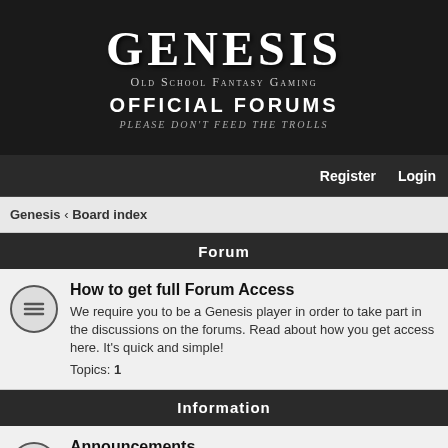[Figure (logo): Genesis Old School Fantasy Gaming banner with scroll graphic, title GENESIS, subtitle Old School Fantasy Gaming, Official Forums, tagline Please don't feed the trolls]
Register   Login
Genesis ‹ Board index
Forum
How to get full Forum Access
We require you to be a Genesis player in order to take part in the discussions on the forums. Read about how you get access here. It's quick and simple!
Topics: 1
Information
Announcements
Game announcements, birthdays, parties, marriages, and anything else you'd like to announce to the Genesis